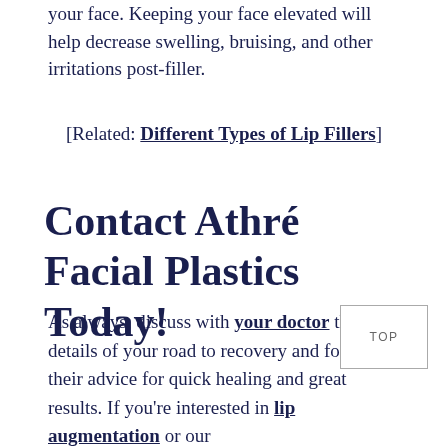your face. Keeping your face elevated will help decrease swelling, bruising, and other irritations post-filler.
[Related: Different Types of Lip Fillers]
Contact Athré Facial Plastics Today!
As always, discuss with your doctor the details of your road to recovery and follow their advice for quick healing and great results. If you're interested in lip augmentation or our